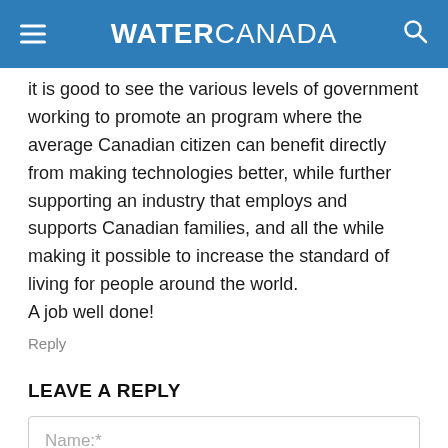WATER CANADA
it is good to see the various levels of government working to promote an program where the average Canadian citizen can benefit directly from making technologies better, while further supporting an industry that employs and supports Canadian families, and all the while making it possible to increase the standard of living for people around the world.
A job well done!
Reply
LEAVE A REPLY
Name:*
Email:*